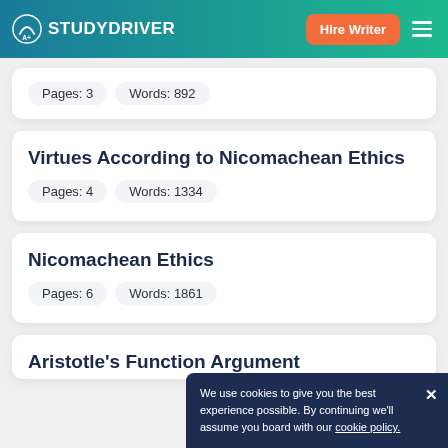STUDYDRIVER — Hire Writer
Pages: 3   Words: 892
Virtues According to Nicomachean Ethics
Pages: 4   Words: 1334
Nicomachean Ethics
Pages: 6   Words: 1861
Aristotle's Function Argument
We use cookies to give you the best experience possible. By continuing we'll assume you board with our cookie policy.